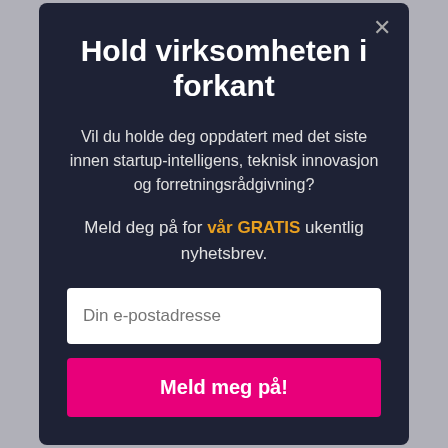Hold virksomheten i forkant
Vil du holde deg oppdatert med det siste innen startup-intelligens, teknisk innovasjon og forretningsrådgivning?
Meld deg på for vår GRATIS ukentlig nyhetsbrev.
Din e-postadresse
Meld meg på!